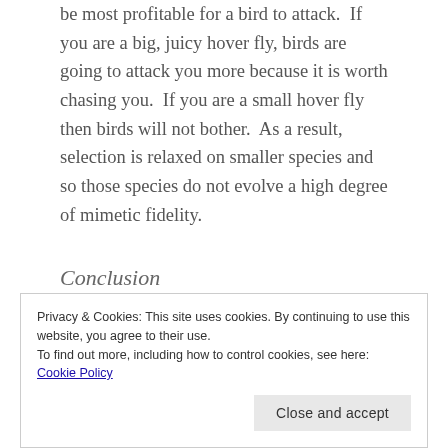be most profitable for a bird to attack. If you are a big, juicy hover fly, birds are going to attack you more because it is worth chasing you. If you are a small hover fly then birds will not bother. As a result, selection is relaxed on smaller species and so those species do not evolve a high degree of mimetic fidelity.
Conclusion
We demonstrated that variation in mimetic fidelity in hover flies is very likely due to lower predation on
Privacy & Cookies: This site uses cookies. By continuing to use this website, you agree to their use.
To find out more, including how to control cookies, see here: Cookie Policy
of this relationship suggests that they are relatively